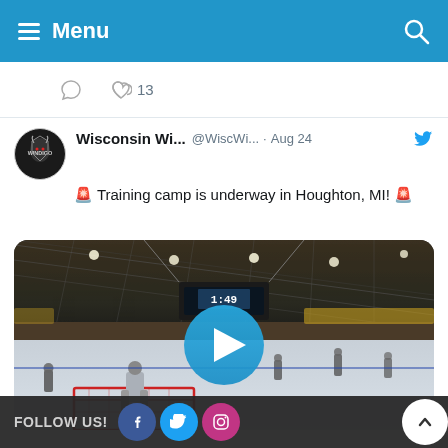Menu
[Figure (screenshot): Heart/like icon with count 13 and comment bubble icon from a previous tweet]
Wisconsin Wi... @WiscWi... · Aug 24 🚨 Training camp is underway in Houghton, MI! 🚨
[Figure (screenshot): Hockey rink interior photo with play button overlay showing training camp at Houghton MI]
FOLLOW US!